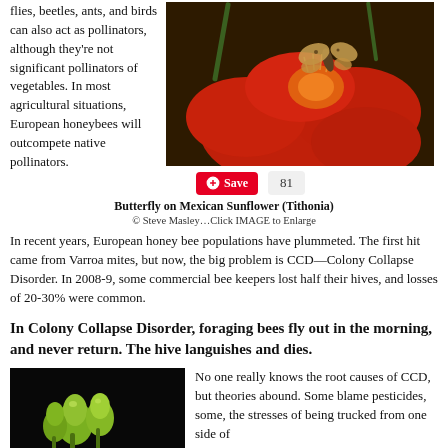flies, beetles, ants, and birds can also act as pollinators, although they're not significant pollinators of vegetables. In most agricultural situations, European honeybees will outcompete native pollinators.
[Figure (photo): Butterfly perched on a red Mexican Sunflower (Tithonia) with orange center stamens, outdoors.]
Butterfly on Mexican Sunflower (Tithonia)
© Steve Masley…Click IMAGE to Enlarge
In recent years, European honey bee populations have plummeted. The first hit came from Varroa mites, but now, the big problem is CCD—Colony Collapse Disorder. In 2008-9, some commercial bee keepers lost half their hives, and losses of 20-30% were common.
In Colony Collapse Disorder, foraging bees fly out in the morning, and never return. The hive languishes and dies.
[Figure (photo): Close-up photo of yellow-green plant buds or flowers against a dark background.]
No one really knows the root causes of CCD, but theories abound. Some blame pesticides, some, the stresses of being trucked from one side of